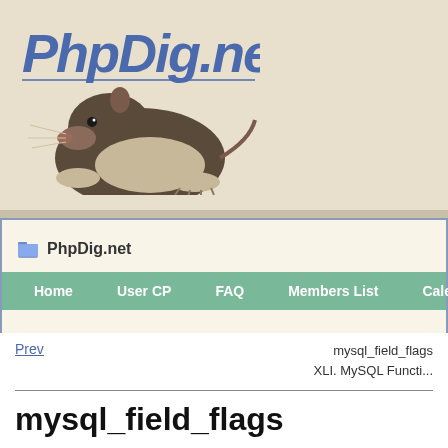[Figure (logo): PhpDig.net logo with italic bold blue text and mole/rat illustration below]
PhpDig.net
Home   User CP   FAQ   Members List   Calendar
mysql_field_flags
XLI. MySQL Functions
mysql_field_flags
Prev